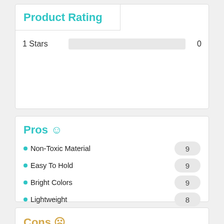Product Rating
1 Stars   0
Pros ☺
Non-Toxic Material  9
Easy To Hold  9
Bright Colors  9
Lightweight  8
Premium Material  8
Cons ☹